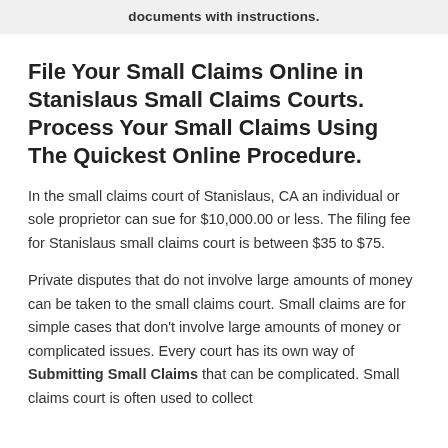documents with instructions.
File Your Small Claims Online in Stanislaus Small Claims Courts. Process Your Small Claims Using The Quickest Online Procedure.
In the small claims court of Stanislaus, CA an individual or sole proprietor can sue for $10,000.00 or less. The filing fee for Stanislaus small claims court is between $35 to $75.
Private disputes that do not involve large amounts of money can be taken to the small claims court. Small claims are for simple cases that don't involve large amounts of money or complicated issues. Every court has its own way of Submitting Small Claims that can be complicated. Small claims court is often used to collect